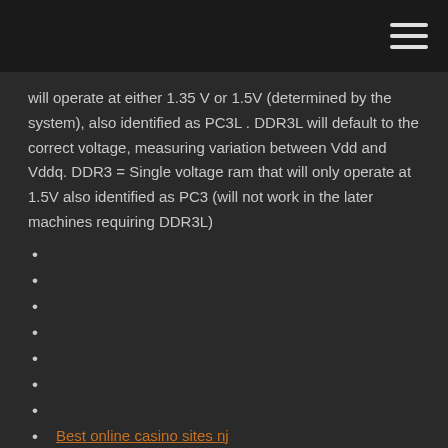[hamburger menu icon]
will operate at either 1.35 V or 1.5V (determined by the system), also identified as PC3L . DDR3L will default to the correct voltage, measuring variation between Vdd and Vddq. DDR3 = Single voltage ram that will only operate at 1.5V also identified as PC3 (will not work in the later machines requiring DDR3L)
Best online casino sites nj